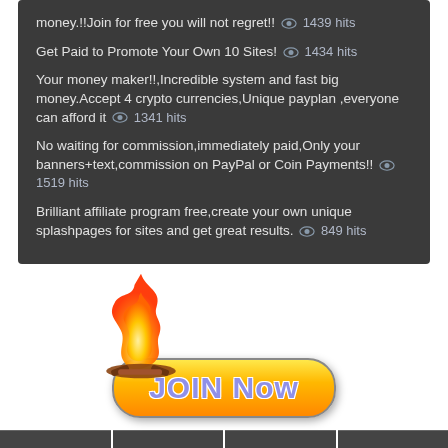money.!!Join for free you will not regret!! 👁 1439 hits
Get Paid to Promote Your Own 10 Sites! 👁 1434 hits
Your money maker!!,Incredible system and fast big money.Accept 4 crypto currencies,Unique payplan ,everyone can afford it 👁 1341 hits
No waiting for commission,immediately paid,Only your banners+text,commission on PayPal or Coin Payments!! 👁 1519 hits
Brilliant affiliate program free,create your own unique splashpages for sites and get great results. 👁 849 hits
[Figure (illustration): A flame/fire graphic on the left overlapping a rounded orange-yellow button reading JOIN Now in purple/blue text with white outline. Call-to-action button graphic.]